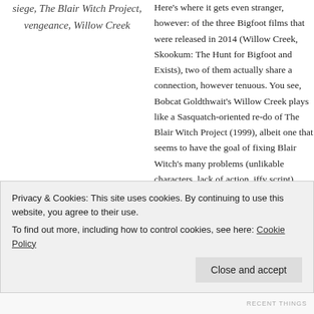siege, The Blair Witch Project, vengeance, Willow Creek
Here's where it gets even stranger, however: of the three Bigfoot films that were released in 2014 (Willow Creek, Skookum: The Hunt for Bigfoot and Exists), two of them actually share a connection, however tenuous. You see, Bobcat Goldthwait's Willow Creek plays like a Sasquatch-oriented re-do of The Blair Witch Project (1999), albeit one that seems to have the goal of fixing Blair Witch's many problems (unlikable characters, lack of action, iffy script). Exists, by contrast, is the newest film by Eduardo Sanchez, one of the two filmmakers responsible for The Blair Witch Project and our current obsession with found-footage films. Exists is also a found-footage film (for
Privacy & Cookies: This site uses cookies. By continuing to use this website, you agree to their use.
To find out more, including how to control cookies, see here: Cookie Policy
Close and accept
RECENT THINGS